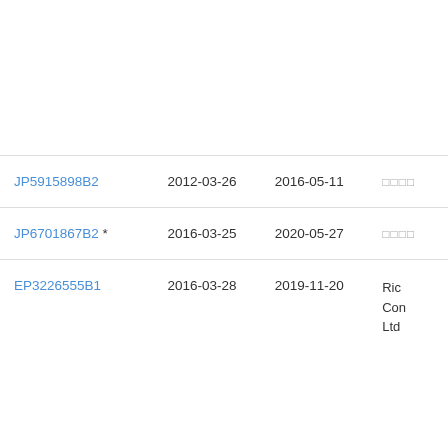| Patent | Filing Date | Publication Date | Owner |
| --- | --- | --- | --- |
|  |  |  |  |
| JP5915898B2 | 2012-03-26 | 2016-05-11 | □□□□ |
| JP6701867B2 * | 2016-03-25 | 2020-05-27 | □□□□ |
| EP3226555B1 | 2016-03-28 | 2019-11-20 | Ric
Con
Ltd |